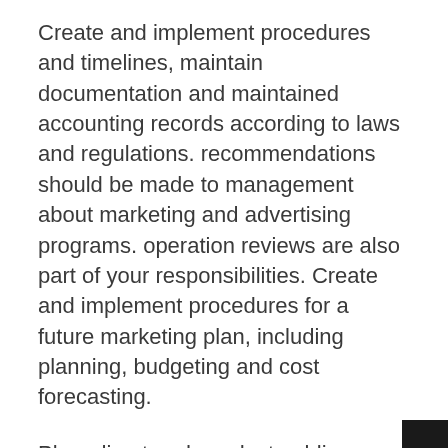Create and implement procedures and timelines, maintain documentation and maintained accounting records according to laws and regulations. recommendations should be made to management about marketing and advertising programs. operation reviews are also part of your responsibilities. Create and implement procedures for a future marketing plan, including planning, budgeting and cost forecasting.
Plan, direct and conduct public relations campaigns. This will be in regard to press releases, advertisements, brochures and other media. Prepare press releases, announce events such as job fairs and expos, contact TV and radio stations about events being planned, maintain a file of contacts, maintain an electronic diary to